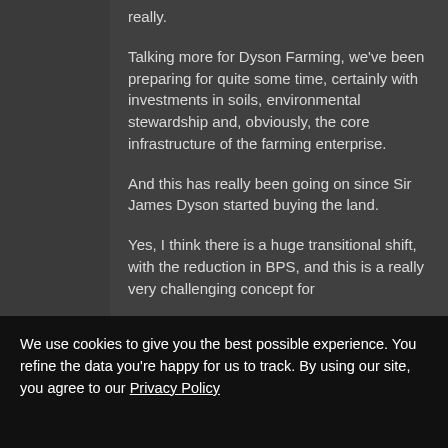really.
Talking more for Dyson Farming, we've been preparing for quite some time, certainly with investments in soils, environmental stewardship and, obviously, the core infrastructure of the farming enterprise.
And this has really been going on since Sir James Dyson started buying the land.
Yes, I think there is a huge transitional shift, with the reduction in BPS, and this is a really very challenging concept for
We use cookies to give you the best possible experience. You refine the data you're happy for us to track. By using our site, you agree to our Privacy Policy